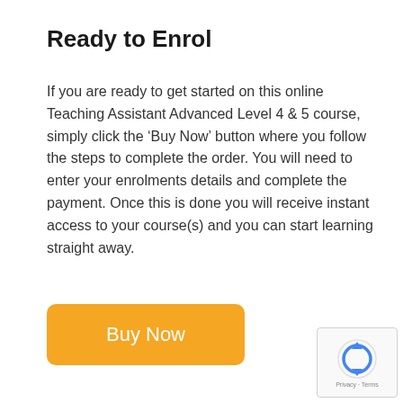Ready to Enrol
If you are ready to get started on this online Teaching Assistant Advanced Level 4 & 5 course, simply click the ‘Buy Now’ button where you follow the steps to complete the order. You will need to enter your enrolments details and complete the payment. Once this is done you will receive instant access to your course(s) and you can start learning straight away.
[Figure (other): Orange rounded rectangle button with white text reading 'Buy Now']
[Figure (other): reCAPTCHA widget box with recycling arrows icon and 'Privacy - Terms' text]